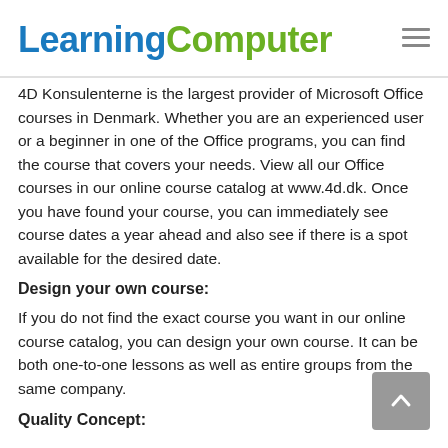LearningComputer
4D Konsulenterne is the largest provider of Microsoft Office courses in Denmark. Whether you are an experienced user or a beginner in one of the Office programs, you can find the course that covers your needs. View all our Office courses in our online course catalog at www.4d.dk. Once you have found your course, you can immediately see course dates a year ahead and also see if there is a spot available for the desired date.
Design your own course:
If you do not find the exact course you want in our online course catalog, you can design your own course. It can be both one-to-one lessons as well as entire groups from the same company.
Quality Concept: